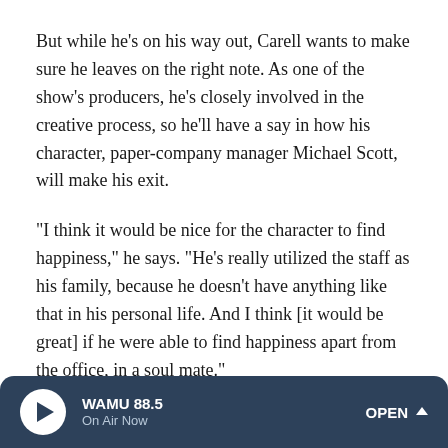But while he's on his way out, Carell wants to make sure he leaves on the right note. As one of the show's producers, he's closely involved in the creative process, so he'll have a say in how his character, paper-company manager Michael Scott, will make his exit.
"I think it would be nice for the character to find happiness," he says. "He's really utilized the staff as his family, because he doesn't have anything like that in his personal life. And I think [it would be great] if he were able to find happiness apart from the office, in a soul mate."
Carell shies away from specifics, but does admit that Michael would probably be happiest with HR representative
WAMU 88.5 On Air Now OPEN